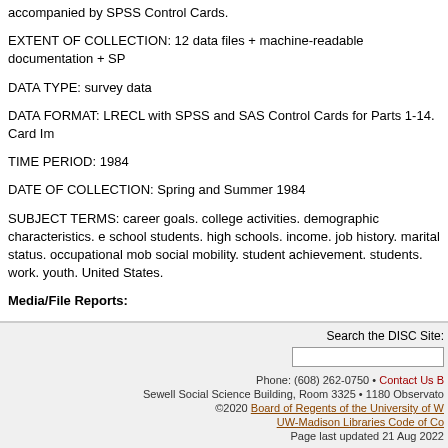accompanied by SPSS Control Cards.
EXTENT OF COLLECTION: 12 data files + machine-readable documentation + SP
DATA TYPE: survey data
DATA FORMAT: LRECL with SPSS and SAS Control Cards for Parts 1-14. Card Im
TIME PERIOD: 1984
DATE OF COLLECTION: Spring and Summer 1984
SUBJECT TERMS: career goals. college activities. demographic characteristics. e school students. high schools. income. job history. marital status. occupational mob social mobility. student achievement. students. work. youth. United States.
Media/File Reports:
ICPSR Direct
Search the DISC Site: | Phone: (608) 262-0750 • Contact Us B | Sewell Social Science Building, Room 3325 • 1180 Observato | ©2020 Board of Regents of the University of W | UW-Madison Libraries Code of Co | Page last updated 21 Aug 2022